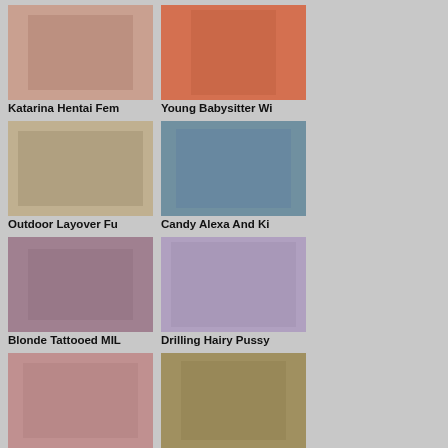[Figure (photo): Thumbnail image for Katarina Hentai Fem]
Katarina Hentai Fem
[Figure (photo): Thumbnail image for Young Babysitter Wi]
Young Babysitter Wi
[Figure (photo): Thumbnail image for Outdoor Layover Fu]
Outdoor Layover Fu
[Figure (photo): Thumbnail image for Candy Alexa And Ki]
Candy Alexa And Ki
[Figure (photo): Thumbnail image for Blonde Tattooed MIL]
Blonde Tattooed MIL
[Figure (photo): Thumbnail image for Drilling Hairy Pussy]
Drilling Hairy Pussy
[Figure (photo): Thumbnail image for Sexy MILFs Ava And]
Sexy MILFs Ava And
[Figure (photo): Thumbnail image for Sarla Bhabhi Season]
Sarla Bhabhi Season
Pandamovies.Club Panda Movies Free Porn! | Contact Me